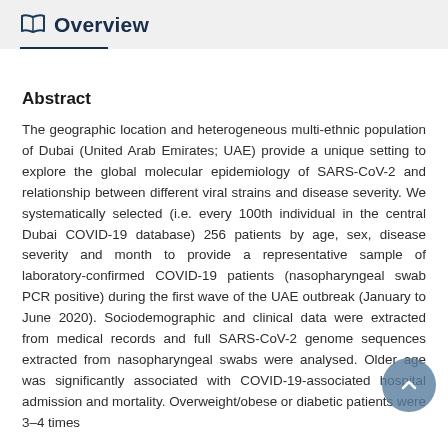Overview
Abstract
The geographic location and heterogeneous multi-ethnic population of Dubai (United Arab Emirates; UAE) provide a unique setting to explore the global molecular epidemiology of SARS-CoV-2 and relationship between different viral strains and disease severity. We systematically selected (i.e. every 100th individual in the central Dubai COVID-19 database) 256 patients by age, sex, disease severity and month to provide a representative sample of laboratory-confirmed COVID-19 patients (nasopharyngeal swab PCR positive) during the first wave of the UAE outbreak (January to June 2020). Sociodemographic and clinical data were extracted from medical records and full SARS-CoV-2 genome sequences extracted from nasopharyngeal swabs were analysed. Older age was significantly associated with COVID-19-associated hospital admission and mortality. Overweight/obese or diabetic patients were 3–4 times